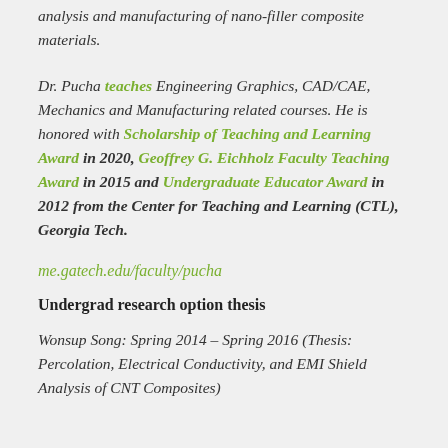analysis and manufacturing of nano-filler composite materials.
Dr. Pucha teaches Engineering Graphics, CAD/CAE, Mechanics and Manufacturing related courses. He is honored with Scholarship of Teaching and Learning Award in 2020, Geoffrey G. Eichholz Faculty Teaching Award in 2015 and Undergraduate Educator Award in 2012 from the Center for Teaching and Learning (CTL), Georgia Tech.
me.gatech.edu/faculty/pucha
Undergrad research option thesis
Wonsup Song: Spring 2014 – Spring 2016 (Thesis: Percolation, Electrical Conductivity, and EMI Shield Analysis of CNT Composites)